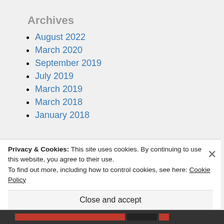Archives
August 2022
March 2020
September 2019
July 2019
March 2019
March 2018
January 2018
Privacy & Cookies: This site uses cookies. By continuing to use this website, you agree to their use.
To find out more, including how to control cookies, see here: Cookie Policy
Close and accept